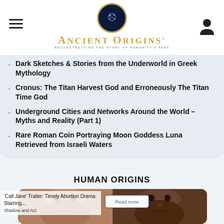Ancient Origins — Reconstructing the story of humanity's past
Dark Sketches & Stories from the Underworld in Greek Mythology
Cronus: The Titan Harvest God and Erroneously The Titan Time God
Underground Cities and Networks Around the World – Myths and Reality (Part 1)
Rare Roman Coin Portraying Moon Goddess Luna Retrieved from Israeli Waters
HUMAN ORIGINS
[Figure (photo): Two facial reconstructions of early human ancestors shown side by side, one lighter-skinned and one darker-skinned]
'Call Jane' Trailer: Timely Abortion Drama Starring…
Shadow and Act
Read more